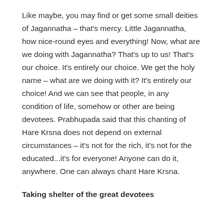Like maybe, you may find or get some small deities of Jagannatha – that's mercy. Little Jagannatha, how nice-round eyes and everything! Now, what are we doing with Jagannatha? That's up to us! That's our choice. It's entirely our choice. We get the holy name – what are we doing with it? It's entirely our choice! And we can see that people, in any condition of life, somehow or other are being devotees. Prabhupada said that this chanting of Hare Krsna does not depend on external circumstances – it's not for the rich, it's not for the educated...it's for everyone! Anyone can do it, anywhere. One can always chant Hare Krsna.
Taking shelter of the great devotees